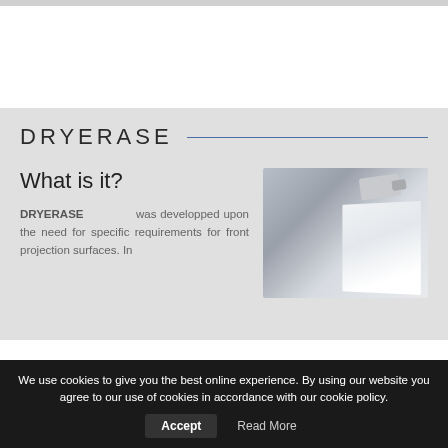DRYERASE
What is it?
[Figure (photo): A projector mounted near a white surface/board, shown at an angle with a light gray background.]
DRYERASE was developped upon the need for specific requirements for front projection surfaces. In
We use cookies to give you the best online experience. By using our website you agree to our use of cookies in accordance with our cookie policy.